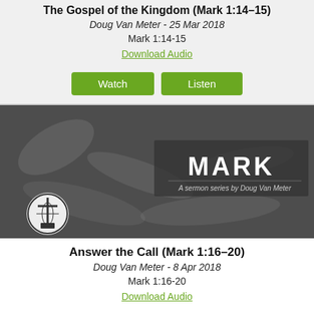The Gospel of the Kingdom (Mark 1:14-15)
Doug Van Meter - 25 Mar 2018
Mark 1:14-15
Download Audio
Watch | Listen
[Figure (photo): Crown of thorns grayscale photo with MARK sermon series overlay text: 'MARK - A sermon series by Doug Van Meter']
Answer the Call (Mark 1:16–20)
Doug Van Meter - 8 Apr 2018
Mark 1:16-20
Download Audio
Watch | Listen